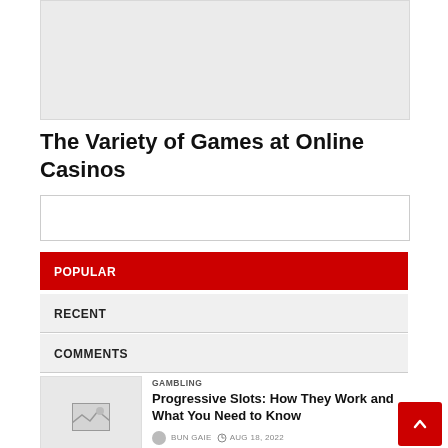[Figure (other): Gray advertisement banner placeholder at top of page]
The Variety of Games at Online Casinos
[Figure (other): Gray advertisement banner placeholder in middle of page]
POPULAR
RECENT
COMMENTS
GAMBLING
Progressive Slots: How They Work and What You Need to Know
BUN GAIE  AUG 18, 2022
[Figure (other): Thumbnail image placeholder with image icon]